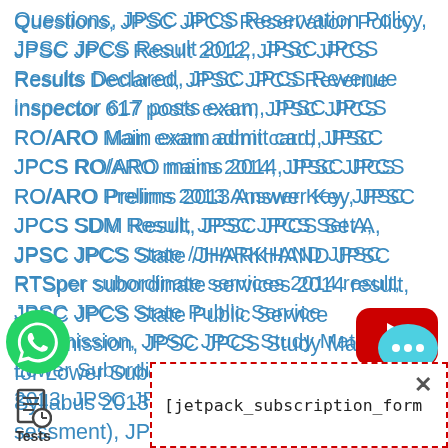Questions, JPSC JPCS Reservation Policy, JPSC JPCS Result 2012, JPSC JPCS Results Declared, JPSC JPCS Revenue inspector 617 posts exam, JPSC JPCS RO/ARO Main exam admit card, JPSC JPCS RO/ARO mains 2014, JPSC JPCS RO/ARO Prelims 2013 Answer Key, JPSC JPCS SDM Result, JPSC JPCS Set A, JPSC JPCS State /JHARKHAND JPSC RTSper subordinate services 2014 result, JPSC JPCS State Public Service Commission, JPSC JPCS Study Material for Lower Subordinate, JPSC IPCS Syllabus 2013, JPSC JPCS Test (sessment), JPSC JPCS Test preparation,
[Figure (logo): YouTube play button logo - red rounded rectangle with white triangle]
[Figure (logo): WhatsApp logo - green circle with phone icon]
[Figure (logo): Chat bubble icon - teal/cyan speech bubble with three dots]
[Figure (illustration): Document/tests icon with clock - representing Tests section]
[jetpack_subscription_form